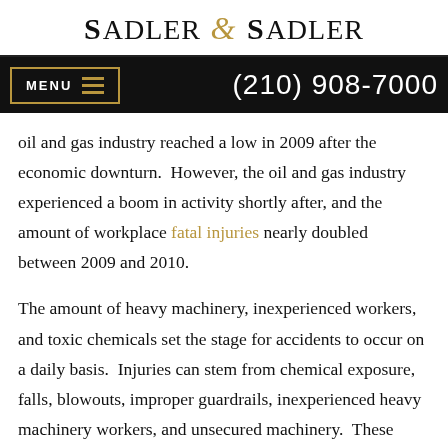Sadler & Sadler
MENU  (210) 908-7000
oil and gas industry reached a low in 2009 after the economic downturn.  However, the oil and gas industry experienced a boom in activity shortly after, and the amount of workplace fatal injuries nearly doubled between 2009 and 2010.
The amount of heavy machinery, inexperienced workers, and toxic chemicals set the stage for accidents to occur on a daily basis.  Injuries can stem from chemical exposure, falls, blowouts, improper guardrails, inexperienced heavy machinery workers, and unsecured machinery.  These